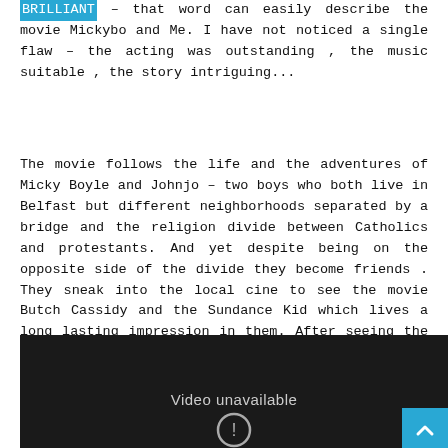BRILLIANT – that word can easily describe the movie Mickybo and Me. I have not noticed a single flaw – the acting was outstanding , the music suitable , the story intriguing...
The movie follows the life and the adventures of Micky Boyle and Johnjo – two boys who both live in Belfast but different neighborhoods separated by a bridge and the religion divide between Catholics and protestants. And yet despite being on the opposite side of the divide they become friends . They sneak into the local cine to see the movie Butch Cassidy and the Sundance Kid which lives a long lasting impression in them. After seeing the movie Mickybo and Jognjo swear an oath to be blood brothers for life and they embark on a journey following the steps of their movie heroes.
[Figure (screenshot): Dark video player showing 'Video unavailable' message with a warning icon and a scroll-to-top button in the bottom right corner]